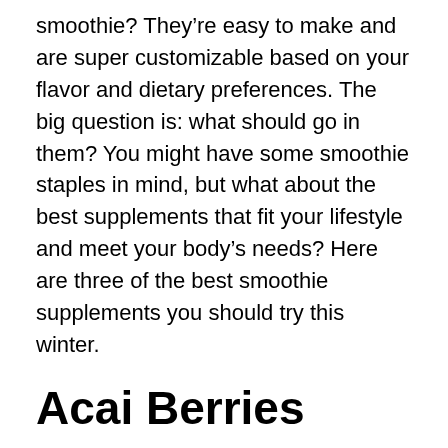smoothie? They're easy to make and are super customizable based on your flavor and dietary preferences. The big question is: what should go in them? You might have some smoothie staples in mind, but what about the best supplements that fit your lifestyle and meet your body's needs? Here are three of the best smoothie supplements you should try this winter.
Acai Berries
Whether they are made into a bowl or added